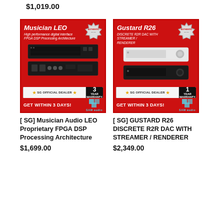$1,019.00
[Figure (photo): Musician LEO product banner with red background, FPGA DSP device images, SG Official Dealer badge, 3 Year Warranty, GET WITHIN 3 DAYS!, SAM audio logo]
[ SG] Musician Audio LEO Proprietary FPGA DSP Processing Architecture $1,699.00
[Figure (photo): Gustard R26 product banner with red background, R2R DAC with Streamer/Renderer device images, SG Official Dealer badge, 1 Year Warranty, GET WITHIN 3 DAYS!, SAM audio logo]
[ SG] GUSTARD R26 DISCRETE R2R DAC WITH STREAMER / RENDERER $2,349.00